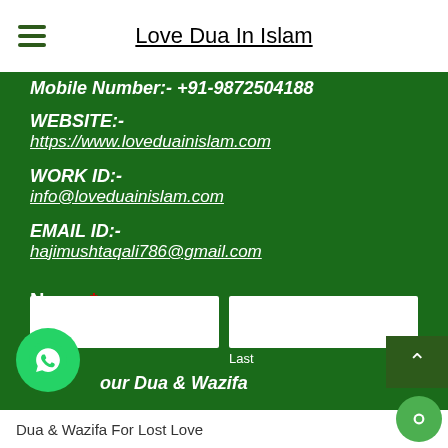Love Dua In Islam
Mobile Number:- +91-9872504188
WEBSITE:-
https://www.loveduainislam.com
WORK ID:-
info@loveduainislam.com
EMAIL ID:-
hajimushtaqali786@gmail.com
Name *
First
Last
our Dua & Wazifa
Dua & Wazifa For Lost Love